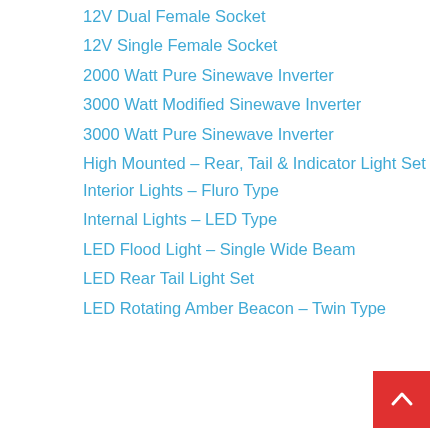12V Dual Female Socket
12V Single Female Socket
2000 Watt Pure Sinewave Inverter
3000 Watt Modified Sinewave Inverter
3000 Watt Pure Sinewave Inverter
High Mounted – Rear, Tail & Indicator Light Set
Interior Lights – Fluro Type
Internal Lights – LED Type
LED Flood Light – Single Wide Beam
LED Rear Tail Light Set
LED Rotating Amber Beacon – Twin Type